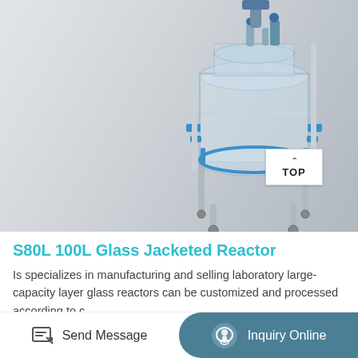[Figure (photo): Photo of S80L 100L Glass Jacketed Reactor on a stainless steel stand with blue fittings, white/gray background, with a TOP navigation button visible in the lower right area of the image]
S80L 100L Glass Jacketed Reactor
Is specializes in manufacturing and selling laboratory large-capacity layer glass reactors can be customized and processed according to c
Send Message   Inquiry Online